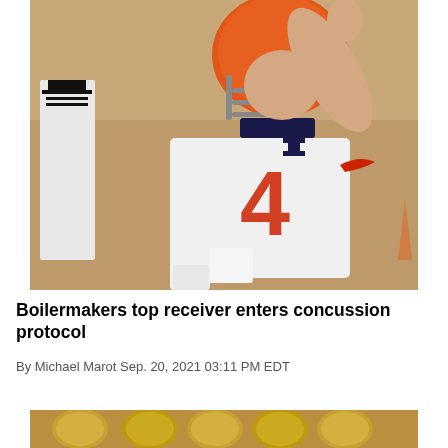[Figure (photo): Illinois quarterback in white jersey with red number 4 and orange helmet, arm raised in throwing motion, with referee in background]
Boilermakers top receiver enters concussion protocol
By Michael Marot Sep. 20, 2021 03:11 PM EDT
[Figure (photo): Partial view of another sports photo at bottom of page, showing players in gold helmets]